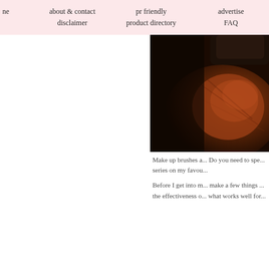ne | about & contact | disclaimer | pr friendly | product directory | advertise | FAQ
[Figure (photo): Close-up photo of a makeup brush with dark reddish-brown powder/product on it, against a dark background]
Make up brushes a... Do you need to spe... series on my favou...
Before I get into m... make a few things ... the effectiveness o... what works well for...